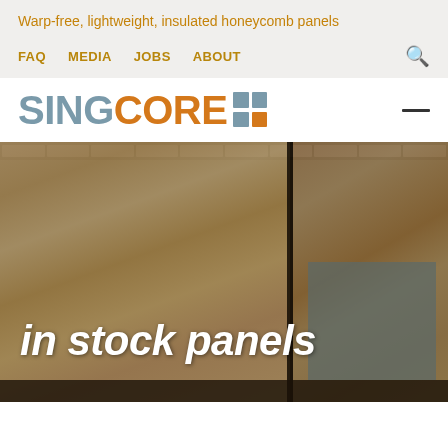Warp-free, lightweight, insulated honeycomb panels
FAQ  MEDIA  JOBS  ABOUT
SINGCORE
[Figure (photo): Hero image of wood-grain honeycomb panels installed as wall cladding with black metal frame dividers, with text overlay reading 'in stock panels']
in stock panels